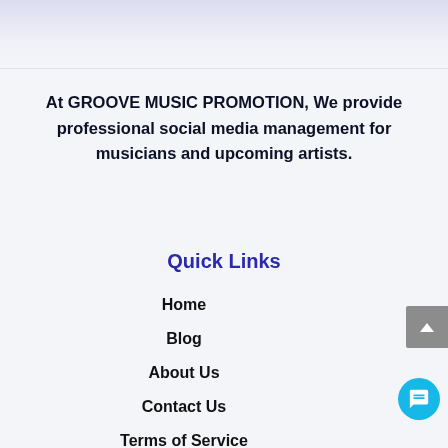[Figure (screenshot): Header area with light purple gradient background at the top of the page]
At GROOVE MUSIC PROMOTION, We provide professional social media management for musicians and upcoming artists.
Quick Links
Home
Blog
About Us
Contact Us
Terms of Service